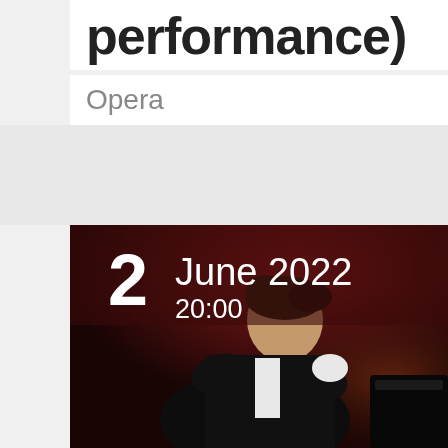performance)
Opera
[Figure (photo): A male pianist performing passionately at a grand piano on stage, wearing a dark suit, with dramatic dark red stage lighting in the background. Overlaid text shows the date and time: 2 June 2022, 20:00.]